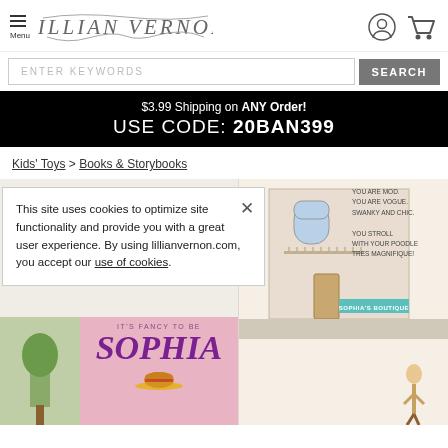Menu | LILLIAN VERNON [logo]
ENTER KEYWORDS
SEARCH
$3.99 Shipping on ANY Order! USE CODE: 20BAN399
Kids' Toys > Books & Storybooks
This site uses cookies to optimize site functionality and provide you with a great user experience. By using lillianvernon.com, you accept our use of cookies.
[Figure (photo): Book product page showing 'It's Fancy to Be Sophia' children's book covers and illustrations. Right side shows illustrated building facade with text: YOU ARE MOD. YOU ARE VOGUE. SWANKY AND CHIC. YOU STROLL WITH YOUR POODLE TRES MAGNIFIQUE! Bottom center shows large pink book cover with 'IT'S FANCY TO BE SOPHIA' title in large purple letters. A 'SOPHIA'S BOUTIQUE' teal sign is visible on the right side.]